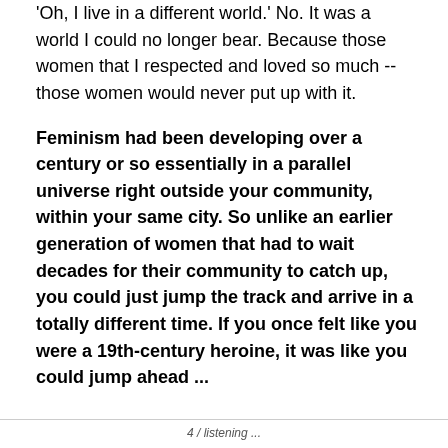'Oh, I live in a different world.' No. It was a world I could no longer bear. Because those women that I respected and loved so much -- those women would never put up with it.
Feminism had been developing over a century or so essentially in a parallel universe right outside your community, within your same city. So unlike an earlier generation of women that had to wait decades for their community to catch up, you could just jump the track and arrive in a totally different time. If you once felt like you were a 19th-century heroine, it was like you could jump ahead ...
4 / listening ...